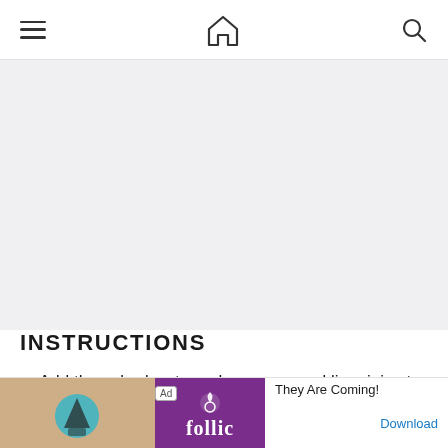Navigation bar with hamburger menu, home icon, and search icon
[Figure (other): Gray advertisement/content placeholder area]
INSTRUCTIONS
Add the cubed watermelon, sugar and lime juice to a blender.
B... (partially obscured by ad)
[Figure (infographic): Advertisement banner: Ad label, image on left, Follic app logo in purple, text 'They Are Coming!' and Download link]